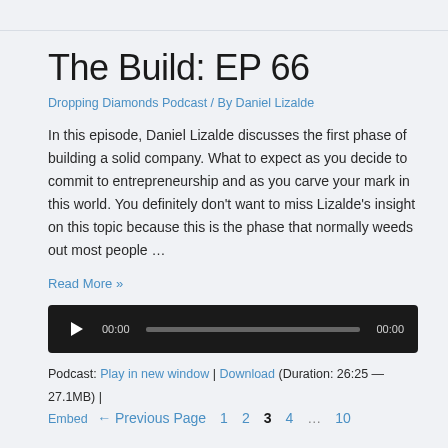The Build: EP 66
Dropping Diamonds Podcast / By Daniel Lizalde
In this episode, Daniel Lizalde discusses the first phase of building a solid company. What to expect as you decide to commit to entrepreneurship and as you carve your mark in this world. You definitely don't want to miss Lizalde's insight on this topic because this is the phase that normally weeds out most people …
Read More »
[Figure (other): Audio player with play button, time display showing 00:00, progress bar, and end time 00:00]
Podcast: Play in new window | Download (Duration: 26:25 — 27.1MB) | Embed
← Previous Page  1  2  3  4  …  10